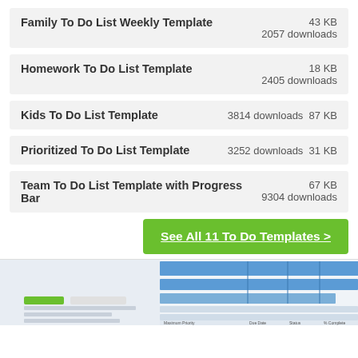Family To Do List Weekly Template 43 KB 2057 downloads
Homework To Do List Template 18 KB 2405 downloads
Kids To Do List Template 3814 downloads 87 KB
Prioritized To Do List Template 3252 downloads 31 KB
Team To Do List Template with Progress Bar 67 KB 9304 downloads
See All 11 To Do Templates >
[Figure (screenshot): Partial preview of a spreadsheet template showing colored header rows and table columns with labels like Maximum Priority, Due Date, and other fields.]